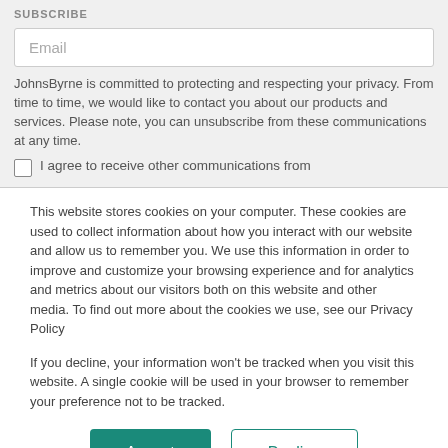SUBSCRIBE
Email
JohnsByrne is committed to protecting and respecting your privacy. From time to time, we would like to contact you about our products and services. Please note, you can unsubscribe from these communications at any time.
I agree to receive other communications from
This website stores cookies on your computer. These cookies are used to collect information about how you interact with our website and allow us to remember you. We use this information in order to improve and customize your browsing experience and for analytics and metrics about our visitors both on this website and other media. To find out more about the cookies we use, see our Privacy Policy
If you decline, your information won't be tracked when you visit this website. A single cookie will be used in your browser to remember your preference not to be tracked.
Accept
Decline